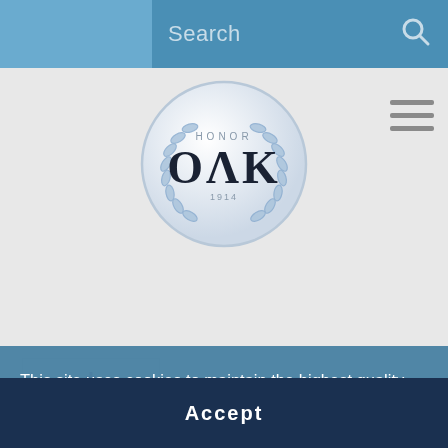Search
[Figure (logo): OAK Honor Society circular emblem logo with laurel wreath, 'HONOR' text, 'OΛK' Greek letters, and year '1914']
[Figure (logo): Truman State University logo with tower icon and purple text reading 'TRUMAN STATE UNIVERSITY']
Truman State University
This site uses cookies to maintain the highest quality performance. By using this site you consent to our privacy and cookies policy.
Accept